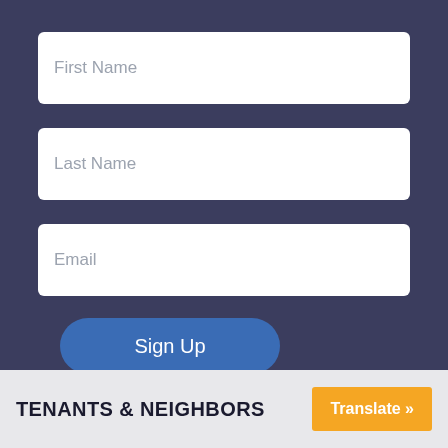First Name
Last Name
Email
Sign Up
TENANTS & NEIGHBORS
Translate »